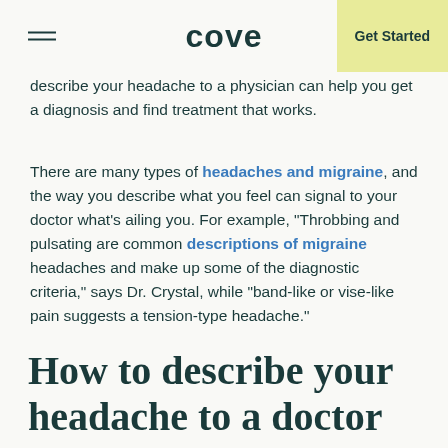cove | Get Started
describe your headache to a physician can help you get a diagnosis and find treatment that works.
There are many types of headaches and migraine, and the way you describe what you feel can signal to your doctor what’s ailing you. For example, “Throbbing and pulsating are common descriptions of migraine headaches and make up some of the diagnostic criteria,” says Dr. Crystal, while “band-like or vise-like pain suggests a tension-type headache.”
How to describe your headache to a doctor